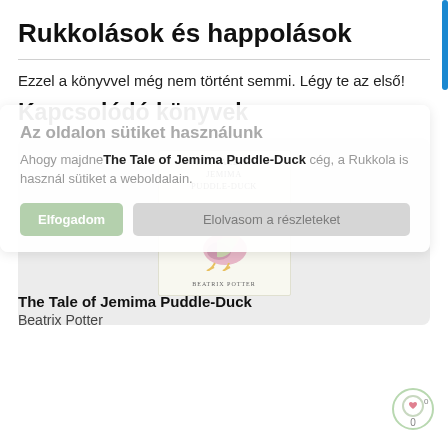Rukkolások és happolások
Ezzel a könyvvel még nem történt semmi. Légy te az első!
Kapcsolódó könyvek
[Figure (illustration): Book cover of The Tale of Jemima Puddle-Duck by Beatrix Potter showing a duck illustration]
Az oldalon sütiket használunk
Ahogy majdnem minden weboldalon, úgy itt is, a Rukkola is használ sütiket a weboldalain.
The Tale of Jemima Puddle-Duck
Beatrix Potter